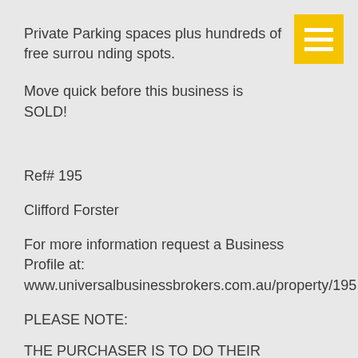Private Parking spaces plus hundreds of free surrounding spots.
Move quick before this business is SOLD!
Ref# 195
Clifford Forster
For more information request a Business Profile at: www.universalbusinessbrokers.com.au/property/195
PLEASE NOTE:
THE PURCHASER IS TO DO THEIR OWN INVESTIGATION INTO TO THE BUSINESS AND NOT RELY UPON WARRANTY OR STATEMENT MADE BY